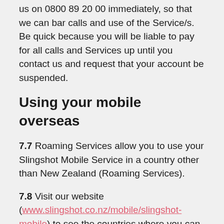us on 0800 89 20 00 immediately, so that we can bar calls and use of the Service/s. Be quick because you will be liable to pay for all calls and Services up until you contact us and request that your account be suspended.
Using your mobile overseas
7.7 Roaming Services allow you to use your Slingshot Mobile Service in a country other than New Zealand (Roaming Services).
7.8 Visit our website (www.slingshot.co.nz/mobile/slingshot-mobile) to see the countries where you can use Roaming Services.
7.9 Roaming Services are enabled by default. You may need to purchase a roaming add through mobile.slingshot.co.nz otherwise you will be charged as per your pricing plan. To